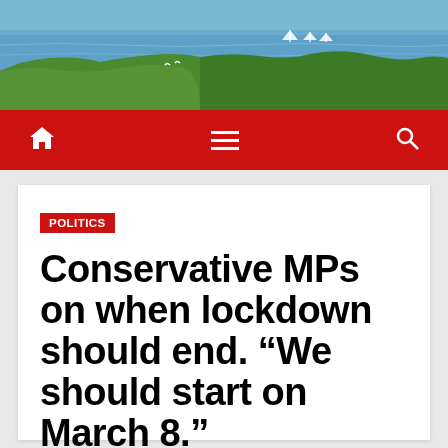[Figure (photo): Coastal landscape with blue sea water, rocky shoreline, and green vegetation/shrubs in the foreground under bright daylight]
Navigation bar with home icon, hamburger menu, and search icon on red background
POLITICS
Conservative MPs on when lockdown should end. “We should start on March 8.”